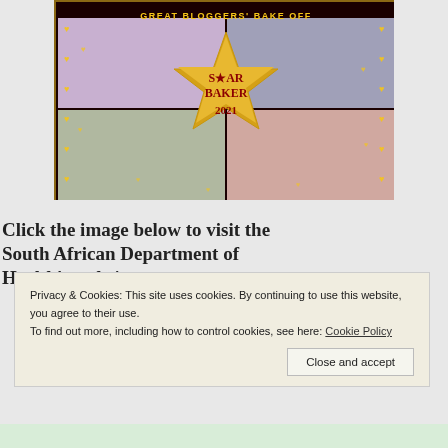[Figure (photo): Great Bloggers' Bake Off promotional image with a golden star reading 'STAR BAKER 2021' overlaid on a dark background with heart decorations and multiple family photos]
Click the image below to visit the South African Department of Health's website.
Privacy & Cookies: This site uses cookies. By continuing to use this website, you agree to their use.
To find out more, including how to control cookies, see here: Cookie Policy
Close and accept